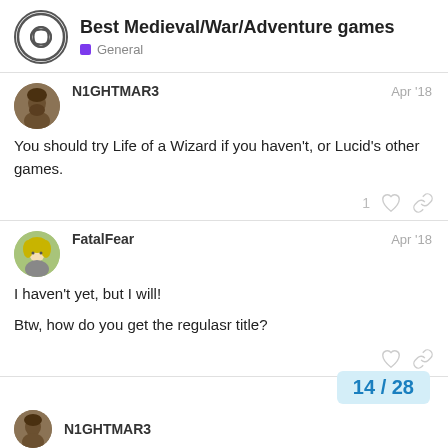Best Medieval/War/Adventure games — General
N1GHTMAR3 Apr '18
You should try Life of a Wizard if you haven't, or Lucid's other games.
FatalFear Apr '18
I haven't yet, but I will!
Btw, how do you get the regulasr title?
14 / 28
N1GHTMAR3